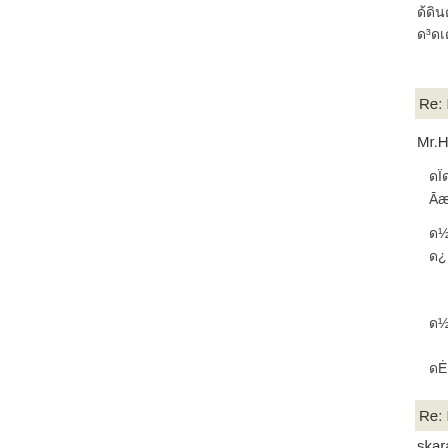ด้ดินตาย¾«Ē¬ดĒตĒดดล|ดดด|»|-o°ø,  ด³ดเด¬¼Â ½²ÄÇ½ด«ÈŸด«ดÀด±ดÇดå¶μด¨ดÆ
Re: KIHON2 as a sample theme can layout cer
Mr.H  Posted on 2005/11/3 13:54
ดÏด ดádbd·ดÆ¡¢Mr.HดĖ¿½ด·ดbd¹¡£ Āæ±û¥Ö¥Î¥Ā¥¯ดò¼«|³ดĒÁàดëด³ดĖด¬ดÇดดë
ด½ด³ดÇด¹ด°ดĒด³ดÎ¥Æ¡¾¥bdò»Ėดÿด»ดÆดดด ด¿ดÀ¡¢täดÎดëดĖ Àด¡ด«²¿ดĖ Àด¡ด«¡¢¼«Îดï
ด½ด³ดÇ¼ÁläดοดΫดÆดดด¿ดÀดด¿ดดดÎดÇด¹ด·
ดĖด¡ด¾ดëดÿดη·ด^ดa´ëดดด·ดbd¹¡£
Re: KIHON2 as a sample theme can layout cer
skara  Posted on 2005/9/2 7:21
Thank you very very much!
Your help is very valuable
Greetings from Greece